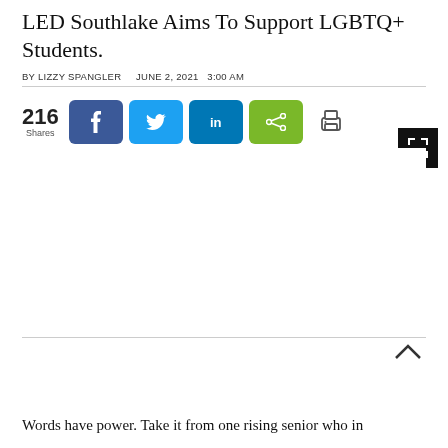LED Southlake Aims To Support LGBTQ+ Students.
BY LIZZY SPANGLER    JUNE 2, 2021  3:00 AM
[Figure (screenshot): Social share buttons row: 216 Shares, Facebook (dark blue), Twitter (light blue), LinkedIn (teal), Share (green), Print icon. Expand icon (black square with corner arrows) to the right.]
[Figure (photo): Large image placeholder area (appears blank/white in this crop)]
Words have power. Take it from one rising senior who in